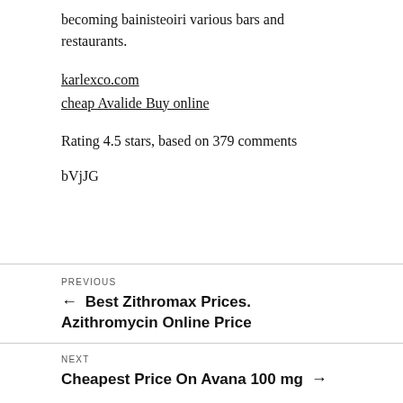becoming bainisteoiri various bars and restaurants.
karlexco.com
cheap Avalide Buy online
Rating 4.5 stars, based on 379 comments
bVjJG
PREVIOUS
← Best Zithromax Prices. Azithromycin Online Price
NEXT
Cheapest Price On Avana 100 mg →